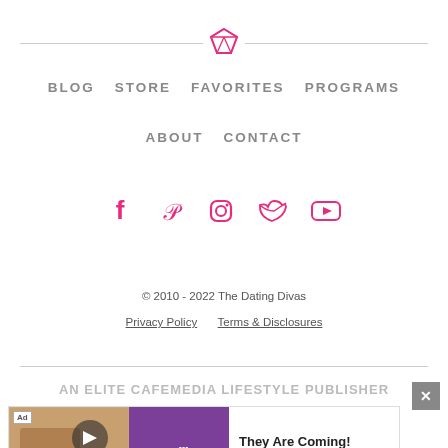[Figure (illustration): Pink diamond gem icon centered between two horizontal divider lines]
BLOG   STORE   FAVORITES   PROGRAMS   ABOUT   CONTACT
[Figure (illustration): Social media icons row: Facebook, Pinterest, Instagram, Twitter, YouTube — all in pink/red color]
© 2010 - 2022 The Dating Divas
Privacy Policy   Terms & Disclosures
AN ELITE CAFEMEDIA LIFESTYLE PUBLISHER
[Figure (screenshot): Advertisement banner: Ad label, game image on left, Rollic purple logo, text 'They Are Coming!' with Download button]